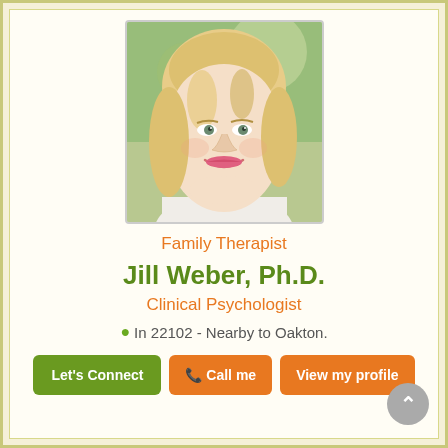[Figure (photo): Professional headshot of Jill Weber, Ph.D. — a blonde woman smiling, photographed against an outdoor blurred green background]
Family Therapist
Jill Weber, Ph.D.
Clinical Psychologist
In 22102 - Nearby to Oakton.
Let's Connect | Call me | View my profile